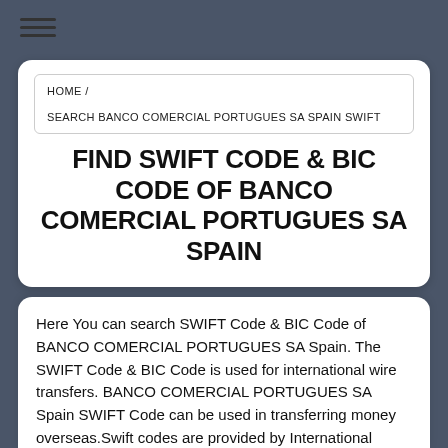≡
HOME / SEARCH BANCO COMERCIAL PORTUGUES SA SPAIN SWIFT
FIND SWIFT CODE & BIC CODE OF BANCO COMERCIAL PORTUGUES SA SPAIN
Here You can search SWIFT Code & BIC Code of BANCO COMERCIAL PORTUGUES SA Spain. The SWIFT Code & BIC Code is used for international wire transfers. BANCO COMERCIAL PORTUGUES SA Spain SWIFT Code can be used in transferring money overseas.Swift codes are provided by International Organization for Standardization (ISO). Swift Code identifies the branches of BANCO COMERCIAL